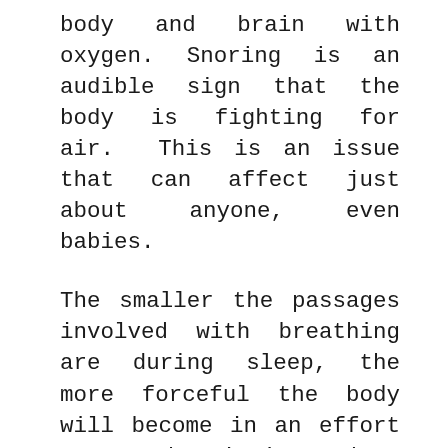body and brain with oxygen. Snoring is an audible sign that the body is fighting for air. This is an issue that can affect just about anyone, even babies.
The smaller the passages involved with breathing are during sleep, the more forceful the body will become in an effort to get the air it needs.
Thus, the tissue blocking the airway will vibrate in proportion to the force needed to get the vital oxygen our body is being deprived